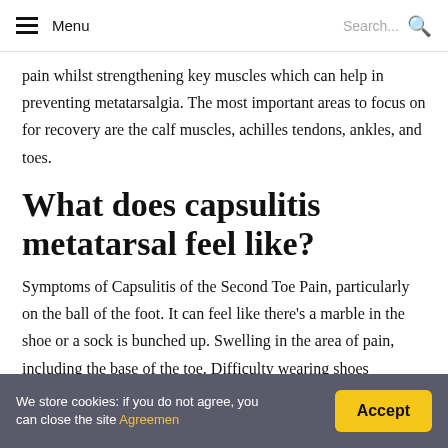Menu | Search...
pain whilst strengthening key muscles which can help in preventing metatarsalgia. The most important areas to focus on for recovery are the calf muscles, achilles tendons, ankles, and toes.
What does capsulitis metatarsal feel like?
Symptoms of Capsulitis of the Second Toe Pain, particularly on the ball of the foot. It can feel like there's a marble in the shoe or a sock is bunched up. Swelling in the area of pain, including the base of the toe. Difficulty wearing shoes
We store cookies: if you do not agree, you can close the site Agreemen